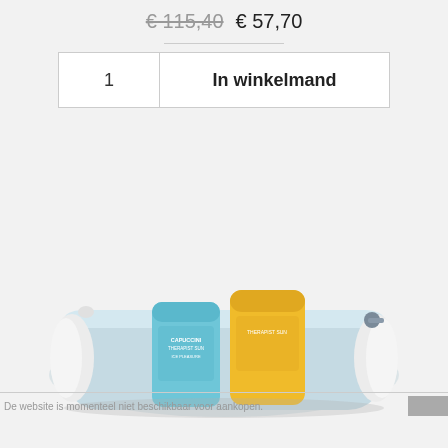€ 115,40  € 57,70
1   In winkelmand
[Figure (photo): A light blue cosmetic/toiletry bag with fluffy white trim, containing two skincare products: a light blue tube (Capuccini Therapist Sun ICE PLEASURE) and a yellow tube (Therapist Sun), photographed on a light grey background.]